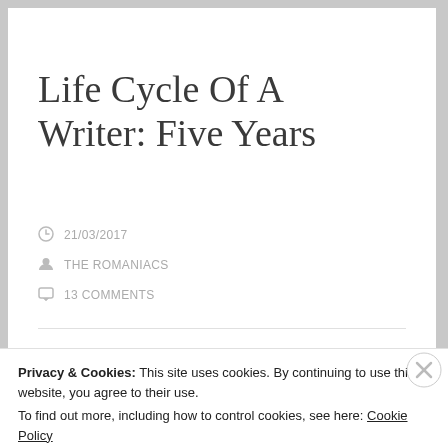Life Cycle Of A Writer: Five Years
21/03/2017
THE ROMANIACS
13 COMMENTS
Life Cycle Of A Writer: Five Years.
Privacy & Cookies: This site uses cookies. By continuing to use this website, you agree to their use.
To find out more, including how to control cookies, see here: Cookie Policy
Close and accept